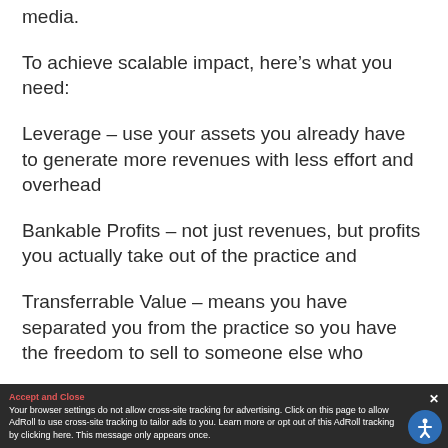media.
To achieve scalable impact, here’s what you need:
Leverage – use your assets you already have to generate more revenues with less effort and overhead
Bankable Profits – not just revenues, but profits you actually take out of the practice and
Transferrable Value – means you have separated you from the practice so you have the freedom to sell to someone else who…
Your browser settings do not allow cross-site tracking for advertising. Click on this page to allow AdRoll to use cross-site tracking to tailor ads to you. Learn more or opt out of this AdRoll tracking by clicking here. This message only appears once.